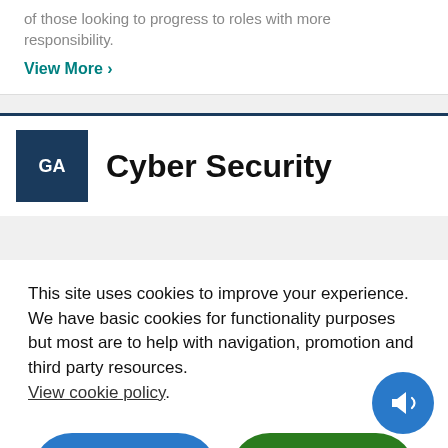of those looking to progress to roles with more responsibility.
View More >
[Figure (logo): GA badge with dark navy background and white text 'GA']
Cyber Security
This site uses cookies to improve your experience. We have basic cookies for functionality purposes but most are to help with navigation, promotion and third party resources. View cookie policy.
Necessary cookies only
I'm fine with cookies